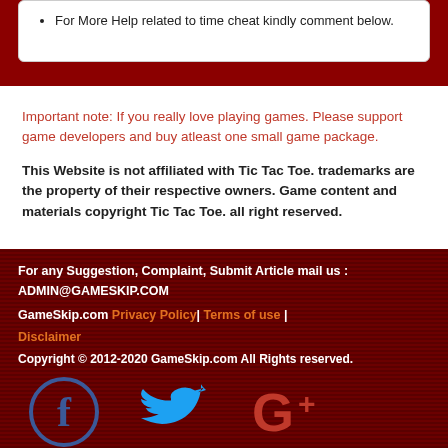For More Help related to time cheat kindly comment below.
Important note: If you really love playing games. Please support game developers and buy atleast one small game package. This Website is not affiliated with Tic Tac Toe. trademarks are the property of their respective owners. Game content and materials copyright Tic Tac Toe. all right reserved.
For any Suggestion, Complaint, Submit Article mail us : ADMIN@GAMESKIP.COM
GameSkip.com Privacy Policy | Terms of use | Disclaimer
Copyright © 2012-2020 GameSkip.com All Rights reserved.
[Figure (logo): Social media icons: Facebook (blue circle with f), Twitter (blue bird), Google+ (red G+)]